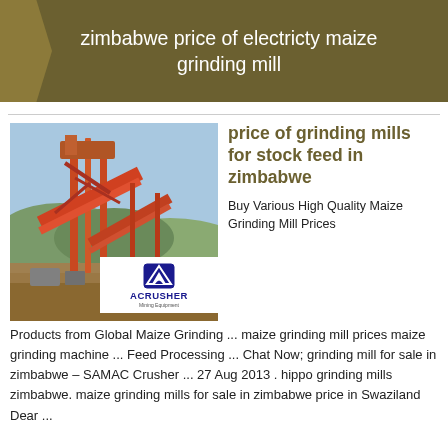zimbabwe price of electricty maize grinding mill
[Figure (photo): Mining/quarry equipment site with conveyor belts and steel structures against a blue sky, with ACRUSHER Mining Equipment logo overlay]
price of grinding mills for stock feed in zimbabwe
Buy Various High Quality Maize Grinding Mill Prices Products from Global Maize Grinding ... maize grinding mill prices maize grinding machine ... Feed Processing ... Chat Now; grinding mill for sale in zimbabwe – SAMAC Crusher ... 27 Aug 2013 . hippo grinding mills zimbabwe. maize grinding mills for sale in zimbabwe price in Swaziland Dear ...